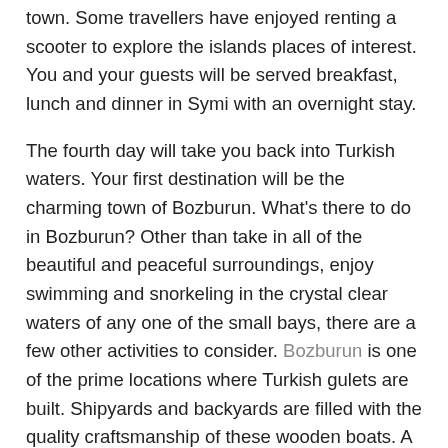town. Some travellers have enjoyed renting a scooter to explore the islands places of interest. You and your guests will be served breakfast, lunch and dinner in Symi with an overnight stay.
The fourth day will take you back into Turkish waters. Your first destination will be the charming town of Bozburun. What's there to do in Bozburun? Other than take in all of the beautiful and peaceful surroundings, enjoy swimming and snorkeling in the crystal clear waters of any one of the small bays, there are a few other activities to consider. Bozburun is one of the prime locations where Turkish gulets are built. Shipyards and backyards are filled with the quality craftsmanship of these wooden boats. A local tour of these sites may prove to add a bit of culture to your trip. In addition, the town is lovely. There you will find a few charming seafood restaurants and some local shops. Bozburun is where you will enjoy the delights of your meals and snacks. Tea time is especially pleasurable during